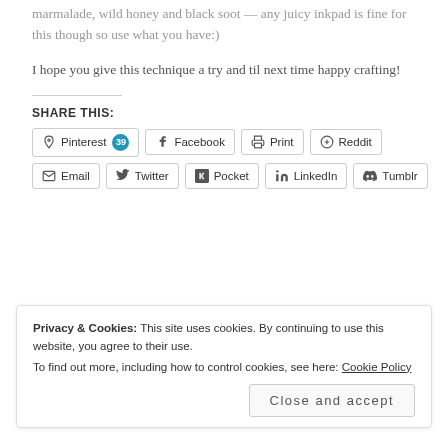marmalade, wild honey and black soot — any juicy inkpad is fine for this though so use what you have:)
I hope you give this technique a try and til next time happy crafting!
SHARE THIS:
Pinterest 39 | Facebook | Print | Reddit | Email | Twitter | Pocket | LinkedIn | Tumblr
Privacy & Cookies: This site uses cookies. By continuing to use this website, you agree to their use. To find out more, including how to control cookies, see here: Cookie Policy
Close and accept